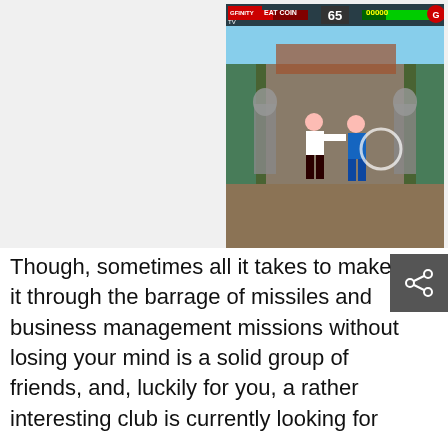[Figure (screenshot): Screenshot of a fighting video game (resembling Mortal Kombat style) showing two characters fighting in an outdoor Asian-themed arena. The HUD shows health bars, score 00000, player labels, and a timer showing 65. A GFINITY TV watermark is visible in the top left of the screenshot.]
Though, sometimes all it takes to make it through the barrage of missiles and business management missions without losing your mind is a solid group of friends, and, luckily for you, a rather interesting club is currently looking for